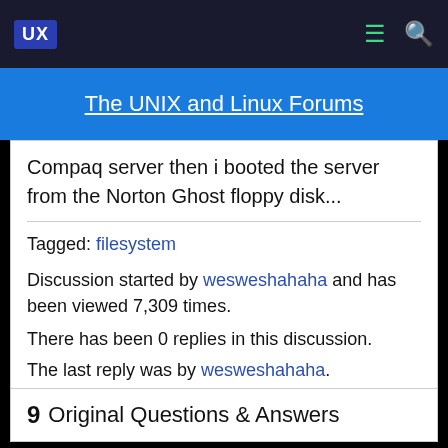UX | The UNIX and Linux Forums
Compaq server then i booted the server from the Norton Ghost floppy disk...
Tagged: filesystem
Discussion started by wesweshahaha and has been viewed 7,309 times.
There has been 0 replies in this discussion.
The last reply was by wesweshahaha.
9  Original Questions & Answers